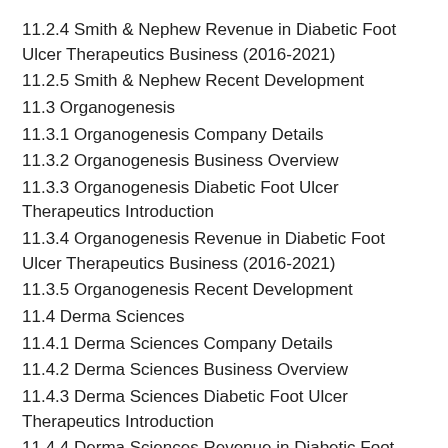11.2.4 Smith & Nephew Revenue in Diabetic Foot Ulcer Therapeutics Business (2016-2021)
11.2.5 Smith & Nephew Recent Development
11.3 Organogenesis
11.3.1 Organogenesis Company Details
11.3.2 Organogenesis Business Overview
11.3.3 Organogenesis Diabetic Foot Ulcer Therapeutics Introduction
11.3.4 Organogenesis Revenue in Diabetic Foot Ulcer Therapeutics Business (2016-2021)
11.3.5 Organogenesis Recent Development
11.4 Derma Sciences
11.4.1 Derma Sciences Company Details
11.4.2 Derma Sciences Business Overview
11.4.3 Derma Sciences Diabetic Foot Ulcer Therapeutics Introduction
11.4.4 Derma Sciences Revenue in Diabetic Foot Ulcer Therapeutics Business (2016-2021)
11.4.5 Derma Sciences Recent Development
11.5 Sigvaris